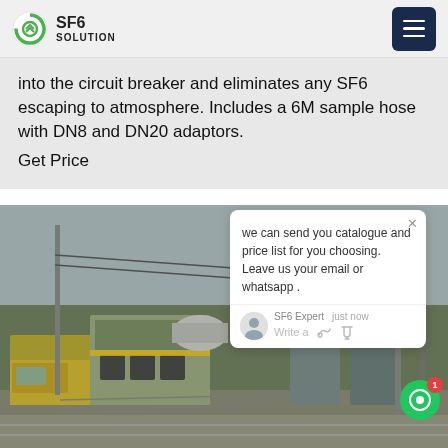SF6 SOLUTION
into the circuit breaker and eliminates any SF6 escaping to atmosphere. Includes a 6M sample hose with DN8 and DN20 adaptors.
Get Price
[Figure (photo): Industrial SF6 gas recovery vehicle/truck parked at an electrical substation with high-voltage transformers and transmission towers in the background.]
we can send you catalogue and price list for you choosing. Leave us your email or whatsapp .
SF6 Expert    just now
Write a